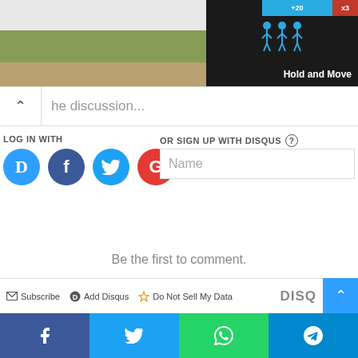[Figure (screenshot): Top area showing a partial screenshot with trees on the left and a dark game UI on the right showing 'Hold and Move' text with a score bar (+20, x3) and stick figures]
he discussion...
LOG IN WITH
OR SIGN UP WITH DISQUS
Name
Be the first to comment.
Subscribe    Add Disqus    Do Not Sell My Data    DISQ
[Figure (infographic): Bottom social share bar with Facebook, Twitter, WhatsApp, and Telegram buttons]